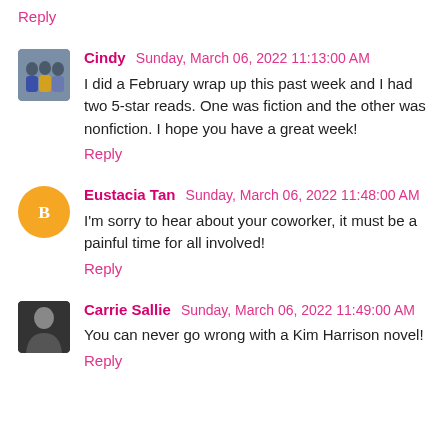Reply
Cindy  Sunday, March 06, 2022 11:13:00 AM
I did a February wrap up this past week and I had two 5-star reads. One was fiction and the other was nonfiction. I hope you have a great week!
Reply
Eustacia Tan  Sunday, March 06, 2022 11:48:00 AM
I'm sorry to hear about your coworker, it must be a painful time for all involved!
Reply
Carrie Sallie  Sunday, March 06, 2022 11:49:00 AM
You can never go wrong with a Kim Harrison novel!
Reply